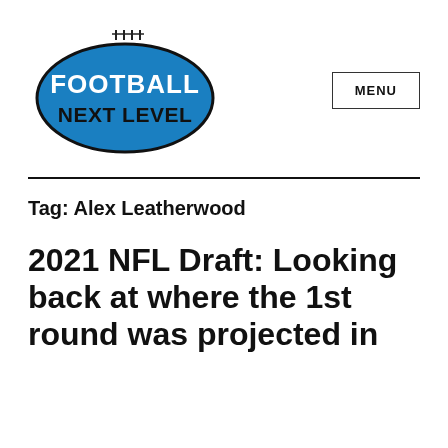[Figure (logo): Football Next Level logo — blue football shape with white bold text 'FOOTBALL NEXT LEVEL' and black laces on top]
MENU
Tag: Alex Leatherwood
2021 NFL Draft: Looking back at where the 1st round was projected in